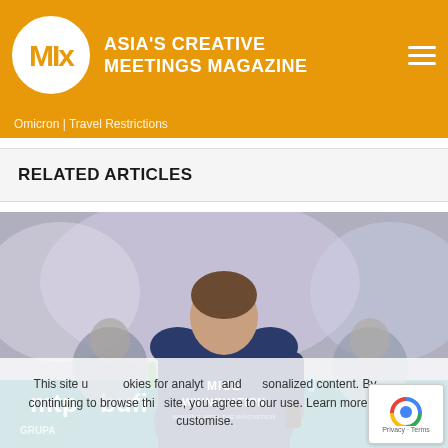MIX - Asia's Creative Meetings Magazine
Omicron | Travel Restrictions
RELATED ARTICLES
[Figure (photo): Person seen from behind wearing a navy blue shirt with 'MICE WINNOVATION' text on the back, standing at a conference presentation. Two people seated at a table in the background. MTP BUFI branding visible on the table banner.]
This site uses cookies for analytics and personalized content. By continuing to browse this site, you agree to our use. Learn more or customise.